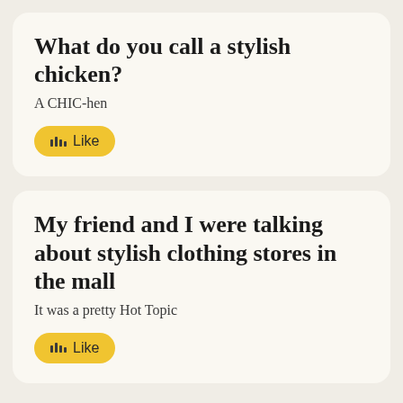What do you call a stylish chicken?
A CHIC-hen
Like
My friend and I were talking about stylish clothing stores in the mall
It was a pretty Hot Topic
Like